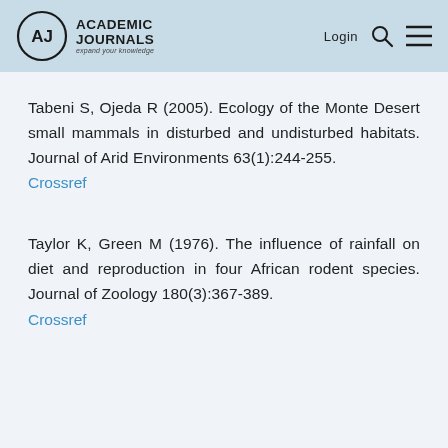Academic Journals — expand your knowledge | Login
Tabeni S, Ojeda R (2005). Ecology of the Monte Desert small mammals in disturbed and undisturbed habitats. Journal of Arid Environments 63(1):244-255.
Crossref
Taylor K, Green M (1976). The influence of rainfall on diet and reproduction in four African rodent species. Journal of Zoology 180(3):367-389.
Crossref